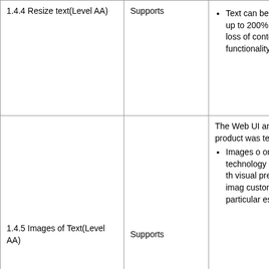| Criteria | Conformance Level | Remarks and Explanations |
| --- | --- | --- |
| 1.4.4 Resize text(Level AA) | Supports | Text can be resized up to 200% without loss of content or functionality. |
| 1.4.5 Images of Text(Level AA) | Supports | The Web UI and No... product was tested for: Images of... only used... technology... create th... visual pre... the imag... customiz... particular... essential... |
|  |  | The Web UI product... tested for: Ability to... functions... keyboard... without re... specific t... |